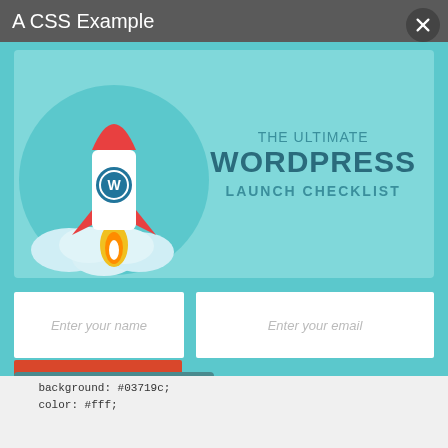A CSS Example
[Figure (illustration): A popup modal showing 'The Ultimate WordPress Launch Checklist' with a rocket illustration on a teal background, two input fields (Enter your name, Enter your email), a red Download Now button, and an OptinMonster branding bar.]
Enter your name
Enter your email
Download
Now
optinmonster
background: #03719c;
color: #fff;